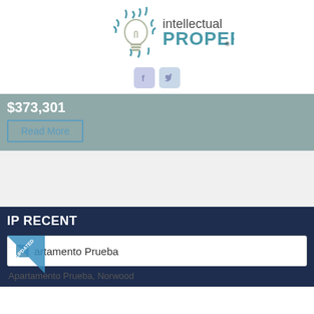[Figure (logo): Intellectual Property logo with lightbulb and wavy lines icon, text reads 'intellectual PROPERTY®']
[Figure (infographic): Facebook and Twitter social media icon buttons in light purple/blue]
$373,301
Read More
IP RECENT
UPDATED badge ribbon
artamento Prueba
Apartamento Prueba, Norwood